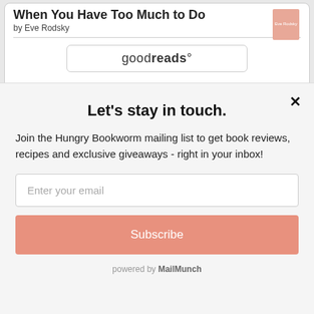When You Have Too Much to Do
by Eve Rodsky
[Figure (logo): Goodreads logo button with rounded rectangle border]
Let's stay in touch.
Join the Hungry Bookworm mailing list to get book reviews, recipes and exclusive giveaways - right in your inbox!
Enter your email
Subscribe
powered by MailMunch